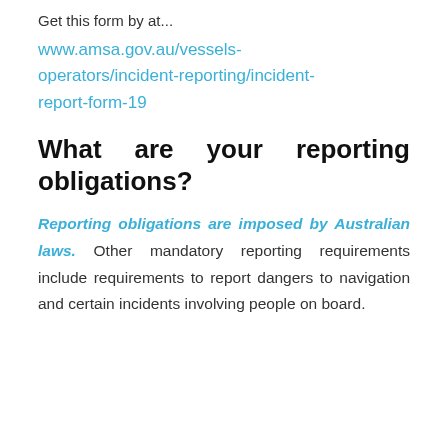Get this form by at...
www.amsa.gov.au/vessels-operators/incident-reporting/incident-report-form-19
What are your reporting obligations?
Reporting obligations are imposed by Australian laws. Other mandatory reporting requirements include requirements to report dangers to navigation and certain incidents involving people on board.